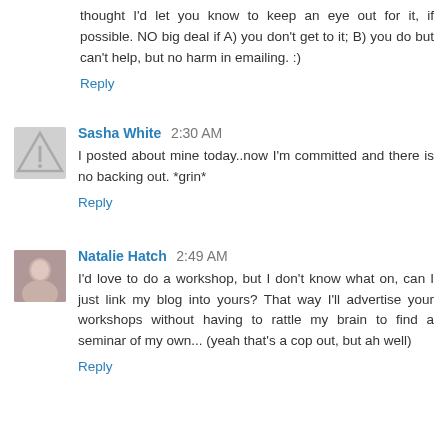thought I'd let you know to keep an eye out for it, if possible. NO big deal if A) you don't get to it; B) you do but can't help, but no harm in emailing. :)
Reply
Sasha White 2:30 AM
I posted about mine today..now I'm committed and there is no backing out. *grin*
Reply
Natalie Hatch 2:49 AM
I'd love to do a workshop, but I don't know what on, can I just link my blog into yours? That way I'll advertise your workshops without having to rattle my brain to find a seminar of my own... (yeah that's a cop out, but ah well)
Reply